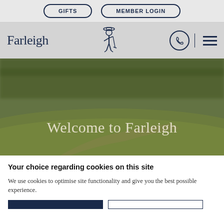GIFTS | MEMBER LOGIN
[Figure (screenshot): Farleigh Golf Club website header with logo text 'Farleigh', a golfer mascot illustration, phone icon in circle, and hamburger menu icon on grey background]
[Figure (photo): Hero image of Farleigh golf course, green rolling fairways, muted/blurred background, with large overlay text 'Welcome to Farleigh']
Your choice regarding cookies on this site
We use cookies to optimise site functionality and give you the best possible experience.